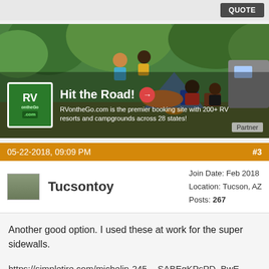QUOTE
[Figure (photo): RV on the Go advertisement banner showing a family camping scene with children running and adults sitting in chairs at a campsite in a wooded area. Logo and text overlay: 'Hit the Road! RVontheGo.com is the premier booking site with 200+ RV resorts and campgrounds across 28 states!' with a Partner badge.]
05-22-2018, 09:09 PM   #3
Tucsontoy
Join Date: Feb 2018
Location: Tucson, AZ
Posts: 267
Another good option. I used these at work for the super sidewalls.
https://simpletire.com/michelin-245-...SABEgKPsPD_BwE
$388 each